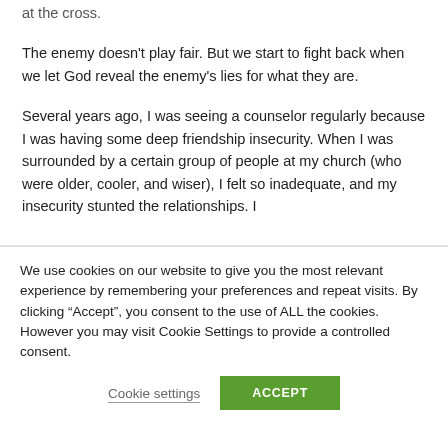at the cross.
The enemy doesn't play fair. But we start to fight back when we let God reveal the enemy's lies for what they are.
Several years ago, I was seeing a counselor regularly because I was having some deep friendship insecurity. When I was surrounded by a certain group of people at my church (who were older, cooler, and wiser), I felt so inadequate, and my insecurity stunted the relationships. I
We use cookies on our website to give you the most relevant experience by remembering your preferences and repeat visits. By clicking “Accept”, you consent to the use of ALL the cookies. However you may visit Cookie Settings to provide a controlled consent.
Cookie settings
ACCEPT